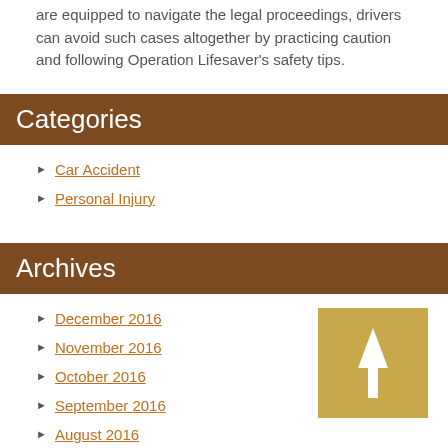are equipped to navigate the legal proceedings, drivers can avoid such cases altogether by practicing caution and following Operation Lifesaver's safety tips.
Categories
Car Accident
Personal Injury
Archives
December 2016
November 2016
October 2016
September 2016
August 2016
[Figure (illustration): A golden/yellow square button with a white upward-pointing arrow, resembling a scroll-to-top button]